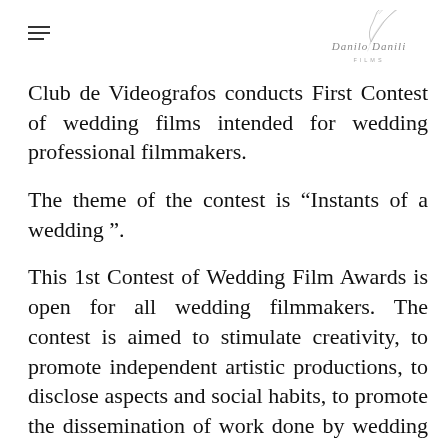[Figure (logo): Danilo Danili Films logo with feather/pen illustration and cursive text]
Club de Videografos conducts First Contest of wedding films intended for wedding professional filmmakers.
The theme of the contest is “Instants of a wedding ”.
This 1st Contest of Wedding Film Awards is open for all wedding filmmakers. The contest is aimed to stimulate creativity, to promote independent artistic productions, to disclose aspects and social habits, to promote the dissemination of work done by wedding filmmakers, to increase recognition of work wedding filmmakers´ work and to enhance the status of wedding filmmakers.